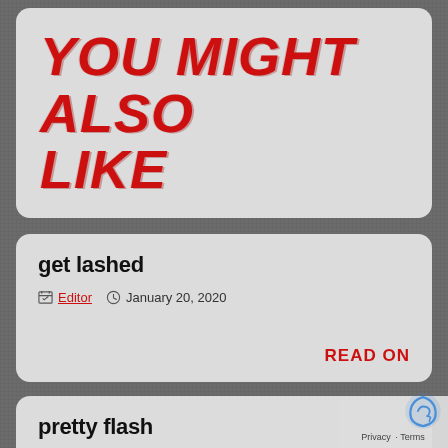YOU MIGHT ALSO LIKE
get lashed
Editor  January 20, 2020
READ ON
pretty flash
Editor  December 16, 2019
READ ON